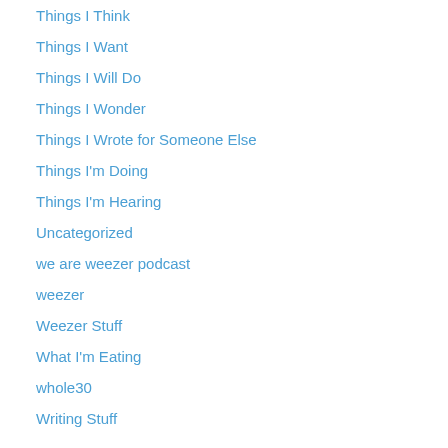Things I Think
Things I Want
Things I Will Do
Things I Wonder
Things I Wrote for Someone Else
Things I'm Doing
Things I'm Hearing
Uncategorized
we are weezer podcast
weezer
Weezer Stuff
What I'm Eating
whole30
Writing Stuff
Tags
#22kill  44 days of ties  @momrunshalf  adidas